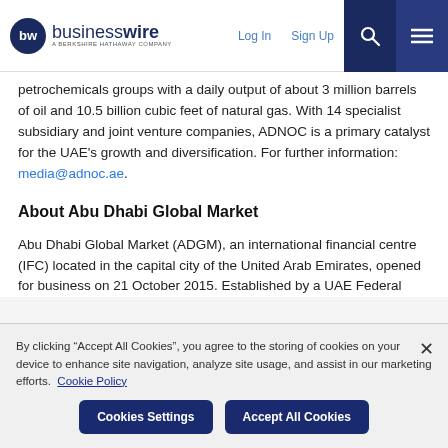businesswire — A BERKSHIRE HATHAWAY COMPANY | Log In | Sign Up
petrochemicals groups with a daily output of about 3 million barrels of oil and 10.5 billion cubic feet of natural gas. With 14 specialist subsidiary and joint venture companies, ADNOC is a primary catalyst for the UAE's growth and diversification. For further information: media@adnoc.ae.
About Abu Dhabi Global Market
Abu Dhabi Global Market (ADGM), an international financial centre (IFC) located in the capital city of the United Arab Emirates, opened for business on 21 October 2015. Established by a UAE Federal
By clicking "Accept All Cookies", you agree to the storing of cookies on your device to enhance site navigation, analyze site usage, and assist in our marketing efforts.  Cookie Policy
Cookies Settings | Accept All Cookies